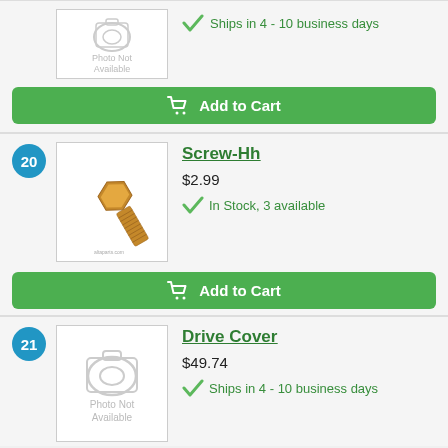[Figure (photo): Photo not available placeholder with camera icon]
Ships in 4 - 10 business days
Add to Cart
20
[Figure (photo): Photo of a hex head bolt/screw, golden/brass colored]
Screw-Hh
$2.99
In Stock, 3 available
Add to Cart
21
[Figure (photo): Photo not available placeholder with camera icon]
Drive Cover
$49.74
Ships in 4 - 10 business days